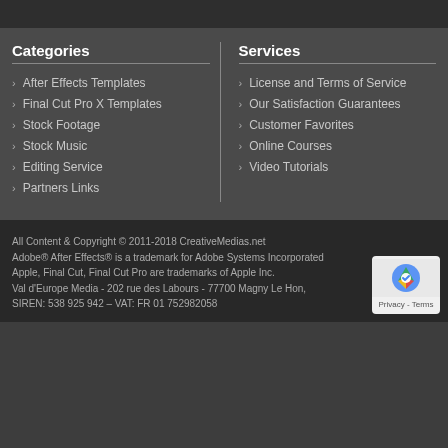Categories
After Effects Templates
Final Cut Pro X Templates
Stock Footage
Stock Music
Editing Service
Partners Links
Services
License and Terms of Service
Our Satisfaction Guarantees
Customer Favorites
Online Courses
Video Tutorials
All Content & Copyright © 2011-2018 CreativeMedias.net
Adobe® After Effects® is a trademark for Adobe Systems Incorporated
Apple, Final Cut, Final Cut Pro are trademarks of Apple Inc.
Val d'Europe Media - 202 rue des Labours - 77700 Magny Le Hon,
SIREN: 538 925 942 – VAT: FR 01 752982058